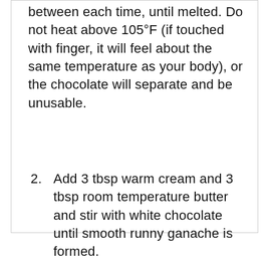between each time, until melted. Do not heat above 105°F (if touched with finger, it will feel about the same temperature as your body), or the chocolate will separate and be unusable.
2. Add 3 tbsp warm cream and 3 tbsp room temperature butter and stir with white chocolate until smooth runny ganache is formed.